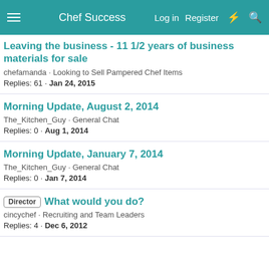Chef Success — Log in  Register
Leaving the business - 11 1/2 years of business materials for sale
chefamanda · Looking to Sell Pampered Chef Items
Replies: 61 · Jan 24, 2015
Morning Update, August 2, 2014
The_Kitchen_Guy · General Chat
Replies: 0 · Aug 1, 2014
Morning Update, January 7, 2014
The_Kitchen_Guy · General Chat
Replies: 0 · Jan 7, 2014
Director  What would you do?
cincychef · Recruiting and Team Leaders
Replies: 4 · Dec 6, 2012